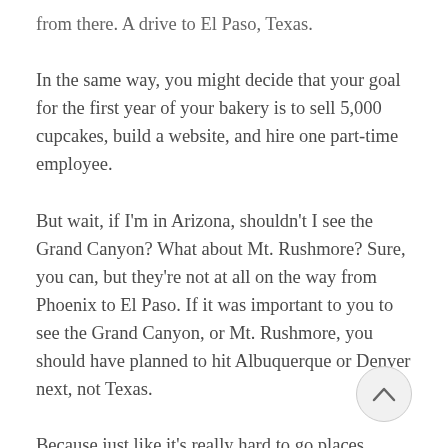from there. A drive to El Paso, Texas.
In the same way, you might decide that your goal for the first year of your bakery is to sell 5,000 cupcakes, build a website, and hire one part-time employee.
But wait, if I'm in Arizona, shouldn't I see the Grand Canyon? What about Mt. Rushmore? Sure, you can, but they're not at all on the way from Phoenix to El Paso. If it was important to you to see the Grand Canyon, or Mt. Rushmore, you should have planned to hit Albuquerque or Denver next, not Texas.
Because just like it's really hard to go places without wasting time and energy